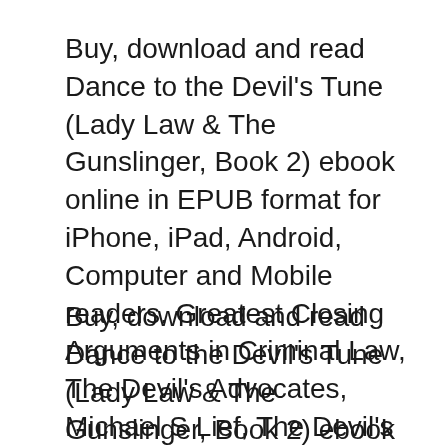Buy, download and read Dance to the Devil's Tune (Lady Law & The Gunslinger, Book 2) ebook online in EPUB format for iPhone, iPad, Android, Computer and Mobile readers. Greatest Closing Arguments in Criminal Law, The Devil's Advocates, Michael S Lief, The Devil's Advocates - ePub Greatest Closing Arguments in Criminal Law.
Buy, download and read Dance to the Devil's Tune (Lady Law & The Gunslinger, Book 2) ebook online in EPUB format for iPhone, iPad, Android, Computer and Mobile readers. Law of the Devil Chapter 15 - The Mightiest Female Astrologer Because I discovered